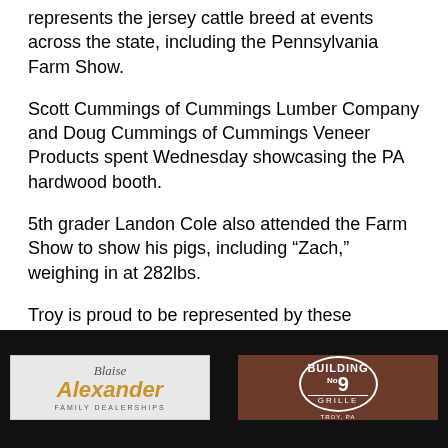represents the jersey cattle breed at events across the state, including the Pennsylvania Farm Show.
Scott Cummings of Cummings Lumber Company and Doug Cummings of Cummings Veneer Products spent Wednesday showcasing the PA hardwood booth.
5th grader Landon Cole also attended the Farm Show to show his pigs, including “Zach,” weighing in at 282lbs.
Troy is proud to be represented by these outstanding individuals who stand amidst an
[Figure (logo): Blaise Alexander Family Dealerships logo]
[Figure (logo): Building No. 9 Grille, Troy PA logo on brick background]